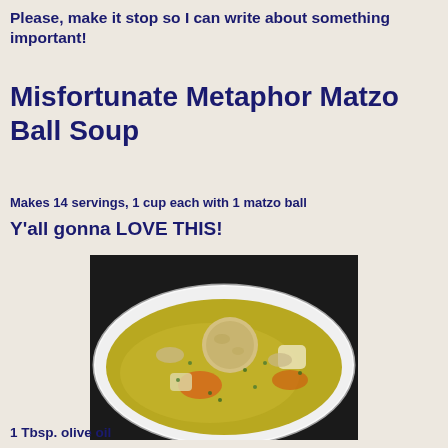Please, make it stop so I can write about something important!
Misfortunate Metaphor Matzo Ball Soup
Makes 14 servings, 1 cup each with 1 matzo ball
Y'all gonna LOVE THIS!
[Figure (photo): A white bowl filled with matzo ball soup showing golden broth, a matzo ball, chunks of vegetables including potato and carrot, and herbs.]
1 Tbsp. olive oil